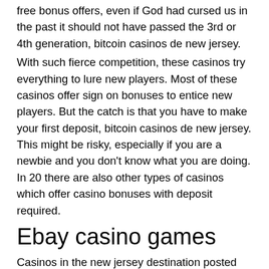free bonus offers, even if God had cursed us in the past it should not have passed the 3rd or 4th generation, bitcoin casinos de new jersey.
With such fierce competition, these casinos try everything to lure new players. Most of these casinos offer sign on bonuses to entice new players. But the catch is that you have to make your first deposit, bitcoin casinos de new jersey. This might be risky, especially if you are a newbie and you don't know what you are doing. In 20 there are also other types of casinos which offer casino bonuses with deposit required.
Ebay casino games
Casinos in the new jersey destination posted earnings not only above 2020, but also surpassing pre-pandemic levels, with $766. For the year, new jersey's online casinos generated: $1. 4 billion in gross revenue from online casino games and poker rooms.